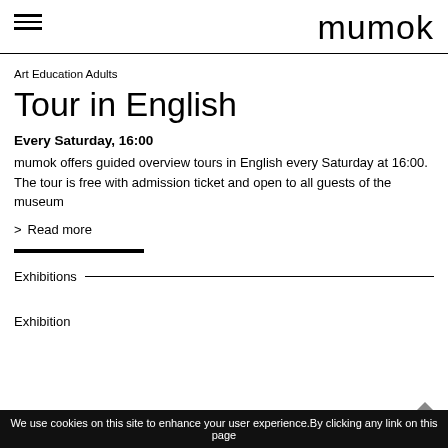mumok
Art Education Adults
Tour in English
Every Saturday, 16:00
mumok offers guided overview tours in English every Saturday at 16:00. The tour is free with admission ticket and open to all guests of the museum
> Read more
Exhibitions
Exhibition
We use cookies on this site to enhance your user experience.By clicking any link on this page